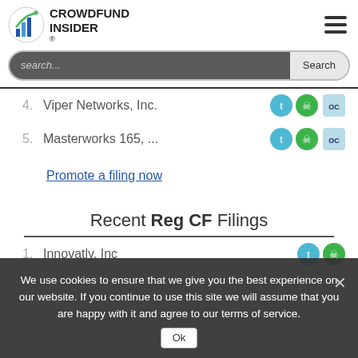Crowdfund Insider
4. Viper Networks, Inc.
5. Masterworks 165, ...
Promote a filing now
Recent Reg CF Filings
1. Innovatly, Inc
2. BidaFi, Inc.
3. Impact Infrastructure, ...
4. Above & Beyond Stu...
We use cookies to ensure that we give you the best experience on our website. If you continue to use this site we will assume that you are happy with it and agree to our terms of service.